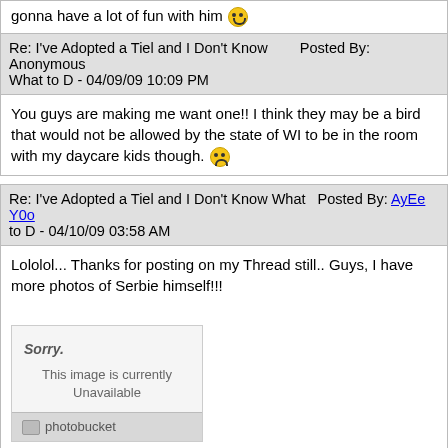gonna have a lot of fun with him 😊
Re: I've Adopted a Tiel and I Don't Know What to D - 04/09/09 10:09 PM  Posted By: Anonymous
You guys are making me want one!! I think they may be a bird that would not be allowed by the state of WI to be in the room with my daycare kids though. 😕
Re: I've Adopted a Tiel and I Don't Know What to D - 04/10/09 03:58 AM  Posted By: AyEe Y0o
Lololol... Thanks for posting on my Thread still.. Guys, I have more photos of Serbie himself!!!
[Figure (photo): Photobucket image placeholder - Sorry. This image is currently Unavailable]
[Figure (photo): Second Photobucket image placeholder - Sorry.]